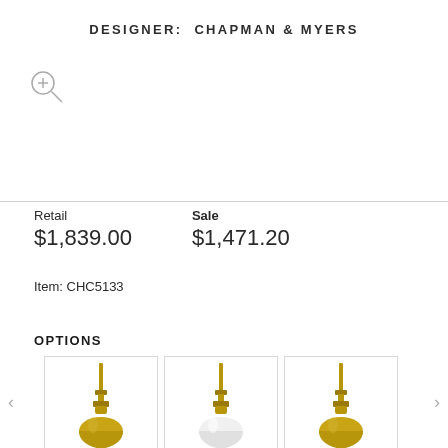DESIGNER:  CHAPMAN & MYERS
[Figure (other): Zoom/magnifier icon (circle with plus sign and magnifier handle)]
Retail
$1,839.00
Sale
$1,471.20
Item: CHC5133
OPTIONS
[Figure (photo): Carousel of three pendant light options (brass/gold finish variations), with left and right navigation arrows. Three pendant lights shown side by side in individual bordered tiles.]